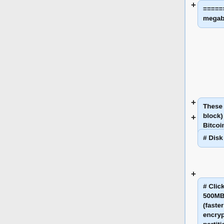====== Secure all data (500 megabytes) ======
These steps (chain wallet and block) of all data stored on Bitcoin an encrypted disk image:
# Disk Utility Open
# Click on "New Image", 500MB, 128-bit or 256-bit (faster or more secure) encryption specify eintelne partition.